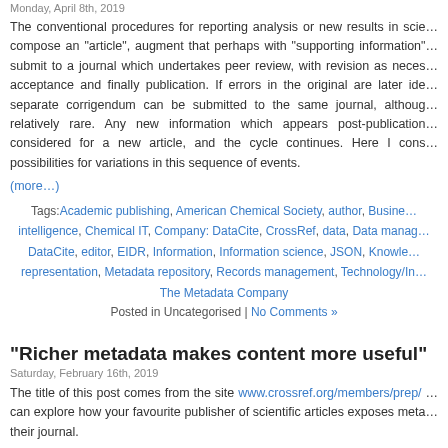Monday, April 8th, 2019
The conventional procedures for reporting analysis or new results in science are: compose an "article", augment that perhaps with "supporting information", submit to a journal which undertakes peer review, with revision as necessary, acceptance and finally publication. If errors in the original are later identified, a separate corrigendum can be submitted to the same journal, although this is relatively rare. Any new information which appears post-publication must be considered for a new article, and the cycle continues. Here I consider the possibilities for variations in this sequence of events.
(more…)
Tags: Academic publishing, American Chemical Society, author, Business intelligence, Chemical IT, Company: DataCite, CrossRef, data, Data management, DataCite, editor, EIDR, Information, Information science, JSON, Knowledge representation, Metadata repository, Records management, Technology/Internet, The Metadata Company
Posted in Uncategorised | No Comments »
“Richer metadata makes content more useful”
Saturday, February 16th, 2019
The title of this post comes from the site www.crossref.org/members/prep/ … can explore how your favourite publisher of scientific articles exposes metadata for their journal.
(more…)